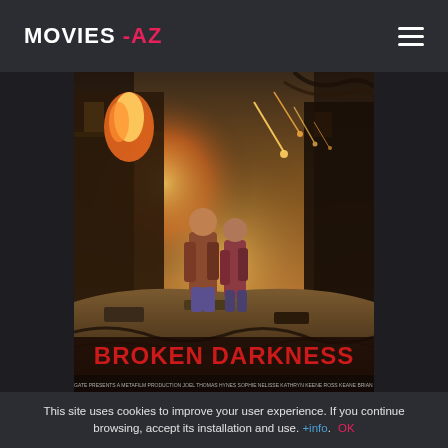MOVIES -AZ
[Figure (photo): Movie poster for 'Broken Darkness' showing two people standing in a destroyed cityscape with meteors falling and fire in the background. The title 'BROKEN DARKNESS' is displayed in large red letters at the bottom of the poster.]
This site uses cookies to improve your user experience. If you continue browsing, accept its installation and use. +info. OK